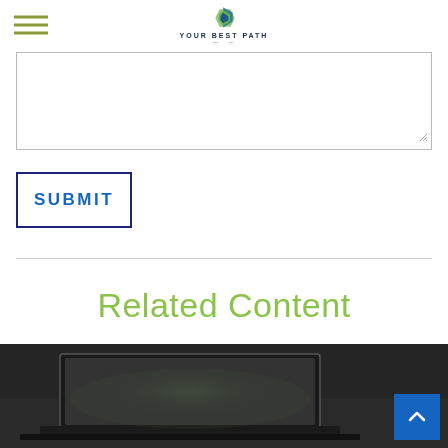YOUR BEST PATH
[Figure (screenshot): Text area input field with resize handle in bottom right corner]
SUBMIT
[Figure (other): Horizontal divider line]
Related Content
[Figure (photo): Dark photo of a laptop/tablet device on a surface with a blue scroll-to-top button in the bottom right corner]